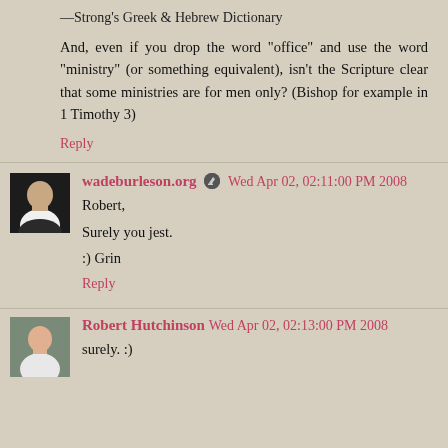—Strong's Greek & Hebrew Dictionary
And, even if you drop the word "office" and use the word "ministry" (or something equivalent), isn't the Scripture clear that some ministries are for men only? (Bishop for example in 1 Timothy 3)
Reply
wadeburleson.org Wed Apr 02, 02:11:00 PM 2008
Robert,

Surely you jest.

:) Grin
Reply
Robert Hutchinson Wed Apr 02, 02:13:00 PM 2008
surely. :)